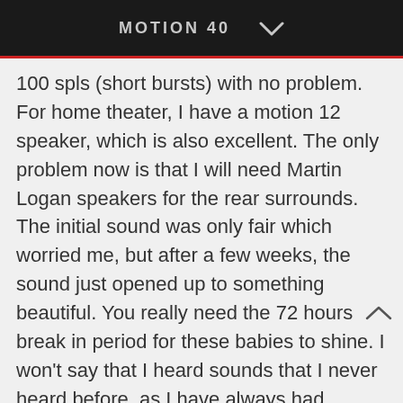MOTION 40
100 spls (short bursts) with no problem. For home theater, I have a motion 12 speaker, which is also excellent. The only problem now is that I will need Martin Logan speakers for the rear surrounds. The initial sound was only fair which worried me, but after a few weeks, the sound just opened up to something beautiful. You really need the 72 hours break in period for these babies to shine. I won't say that I heard sounds that I never heard before, as I have always had decent speakers. However, acoustic guitars, female and male vocalist gave me a sense of being at a live concert, IMHO. I